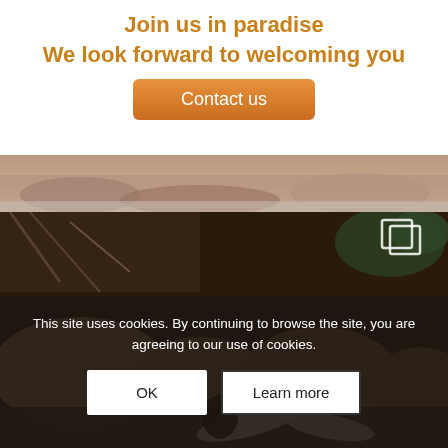Join us in paradise
We look forward to welcoming you
[Figure (illustration): Orange rounded button labeled 'Contact us']
[Figure (photo): Partial landscape photo strip showing rocky terrain near water]
[Figure (photo): Main photo of rocky riverbank with boulders and people kayaking in foreground]
This site uses cookies. By continuing to browse the site, you are agreeing to our use of cookies.